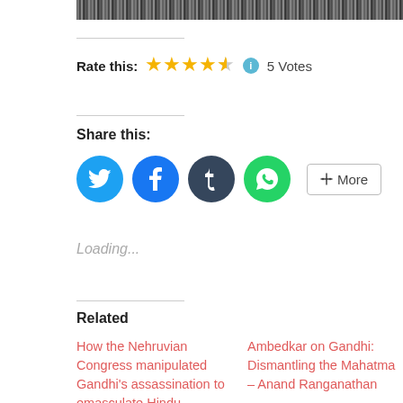[Figure (photo): Partial black and white photograph visible at the top of the page]
Rate this: ★★★★½ ℹ 5 Votes
Share this:
[Figure (infographic): Social sharing buttons: Twitter (blue), Facebook (blue), Tumblr (dark), WhatsApp (green), and More button]
Loading...
Related
How the Nehruvian Congress manipulated Gandhi's assassination to emasculate Hindu nationalism – Koenraad Elst
Ambedkar on Gandhi: Dismantling the Mahatma – Anand Ranganathan